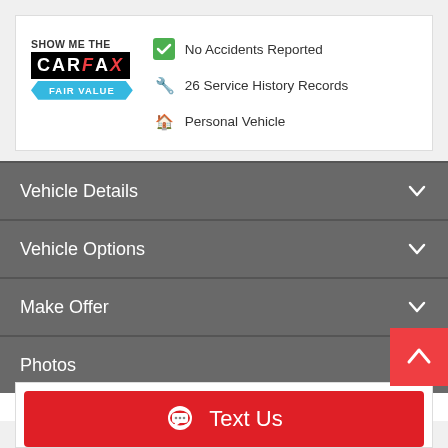[Figure (logo): Carfax Show Me The Carfax Fair Value logo]
No Accidents Reported
26 Service History Records
Personal Vehicle
Vehicle Details
Vehicle Options
Make Offer
Photos
Text Us